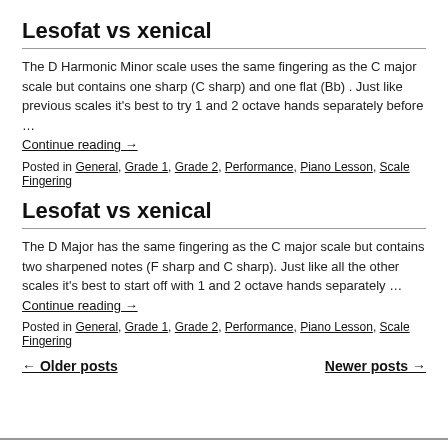Lesofat vs xenical
The D Harmonic Minor scale uses the same fingering as the C major scale but contains one sharp (C sharp) and one flat (Bb) . Just like previous scales it's best to try 1 and 2 octave hands separately before …
Continue reading →
Posted in General, Grade 1, Grade 2, Performance, Piano Lesson, Scale Fingering
Lesofat vs xenical
The D Major has the same fingering as the C major scale but contains two sharpened notes (F sharp and C sharp). Just like all the other scales it's best to start off with 1 and 2 octave hands separately …
Continue reading →
Posted in General, Grade 1, Grade 2, Performance, Piano Lesson, Scale Fingering
← Older posts   Newer posts →